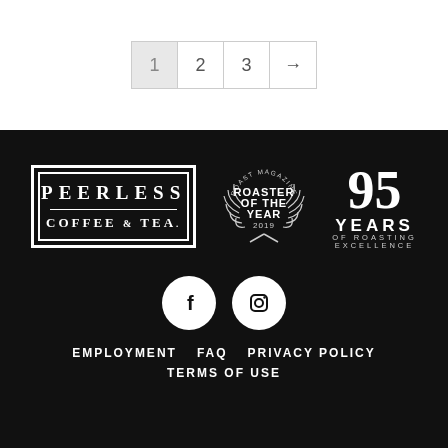1  2  3  →
[Figure (logo): Peerless Coffee & Tea logo in white on black, rectangular with double border]
[Figure (logo): Roast Magazine Roaster of the Year 2019 badge with laurel wreath]
[Figure (logo): 95 Years of Roasting Excellence text logo in white]
[Figure (logo): Facebook and Instagram social media icons as white circles on black]
EMPLOYMENT   FAQ   PRIVACY POLICY   TERMS OF USE